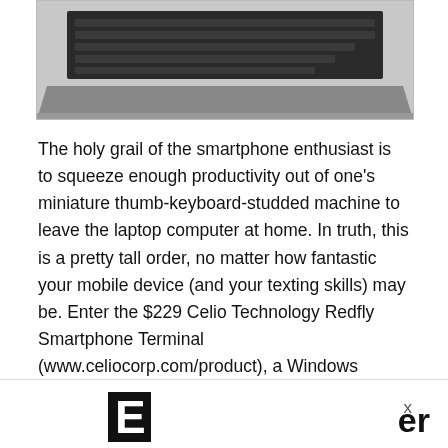[Figure (photo): Partial view of a laptop computer showing the bottom edge of the keyboard and the base of the device, on a white background inside a bordered box.]
The holy grail of the smartphone enthusiast is to squeeze enough productivity out of one’s miniature thumb-keyboard-studded machine to leave the laptop computer at home. In truth, this is a pretty tall order, no matter how fantastic your mobile device (and your texting skills) may be. Enter the $229 Celio Technology Redfly Smartphone Terminal (www.celiocorp.com/product), a Windows Mobile smartphone companion that trades processor, memory and storage—all of which it leaves to the smartphone—for light weight (about a pound and a half) and long battery life (about 5 hours).—Jason Brooks
[Figure (logo): Partial logo at the bottom of the page showing a bold letter in a black box on the left, an 'x' symbol on the right, and bold text 'er' at the far right.]